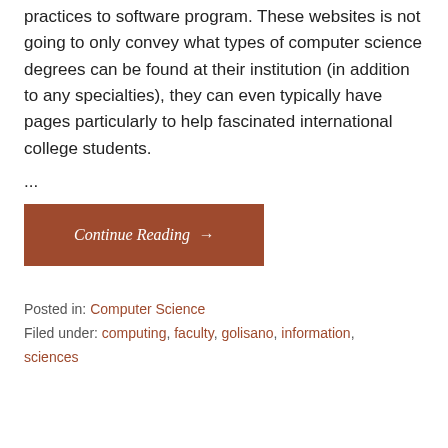design, involving the applying of engineering practices to software program. These websites is not going to only convey what types of computer science degrees can be found at their institution (in addition to any specialties), they can even typically have pages particularly to help fascinated international college students.
...
Continue Reading →
Posted in: Computer Science
Filed under: computing, faculty, golisano, information, sciences